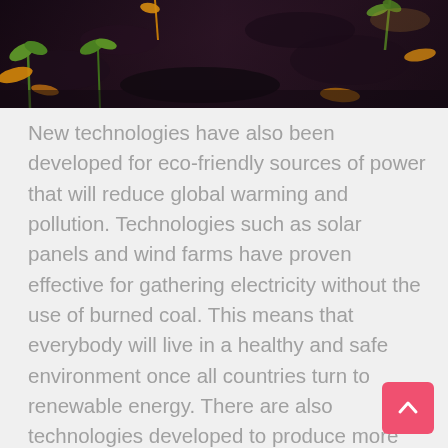[Figure (photo): Close-up photo of dark soil with small green plant sprouts emerging, some yellow/orange leaves visible]
New technologies have also been developed for eco-friendly sources of power that will reduce global warming and pollution. Technologies such as solar panels and wind farms have proven effective for gathering electricity without the use of burned coal. This means that everybody will live in a healthy and safe environment once all countries turn to renewable energy. There are also technologies developed to produce more crops that will help in food production. Until now, people are continuously developing more technologies to save the planet and it is nice to know that people could live in a better future.